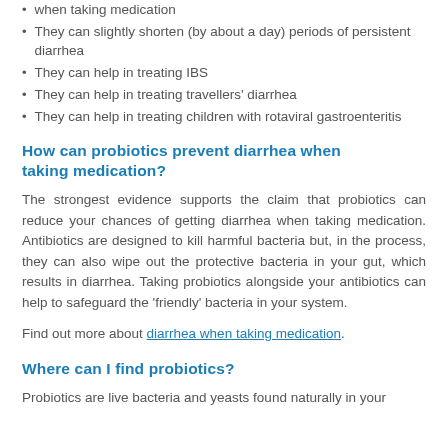when taking medication
They can slightly shorten (by about a day) periods of persistent diarrhea
They can help in treating IBS
They can help in treating travellers' diarrhea
They can help in treating children with rotaviral gastroenteritis
How can probiotics prevent diarrhea when taking medication?
The strongest evidence supports the claim that probiotics can reduce your chances of getting diarrhea when taking medication. Antibiotics are designed to kill harmful bacteria but, in the process, they can also wipe out the protective bacteria in your gut, which results in diarrhea. Taking probiotics alongside your antibiotics can help to safeguard the 'friendly' bacteria in your system.
Find out more about diarrhea when taking medication.
Where can I find probiotics?
Probiotics are live bacteria and yeasts found naturally in your